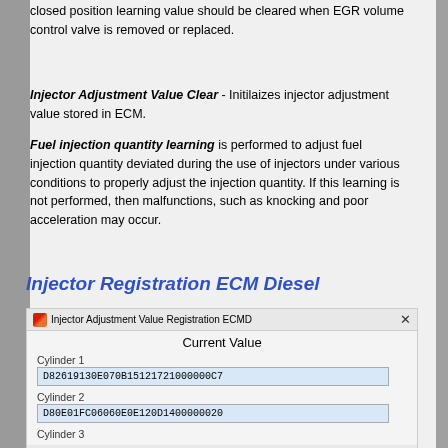closed position learning value should be cleared when EGR volume control valve is removed or replaced.
Injector Adjustment Value Clear - Initilaizes injector adjustment value stored in ECM.
Fuel injection quantity learning is performed to adjust fuel injection quantity deviated during the use of injectors under various conditions to properly adjust the injection quantity. If this learning is not performed, then malfunctions, such as knocking and poor acceleration may occur.
Injector Registration ECM Diesel
[Figure (screenshot): Screenshot of 'Injector Adjustment Value Registration ECMD' dialog window showing Current Value fields for Cylinder 1 (D82619130E070B15121721000000C7), Cylinder 2 (D80E01FC06060E0E120D1400000020), and Cylinder 3 (partially visible)]